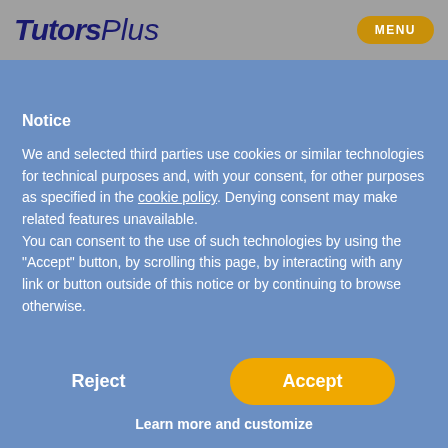[Figure (logo): TutorsPlus logo in dark blue italic text on grey header bar, with gold MENU button on the right]
[Figure (illustration): Dark red banner strip below the header with a curved shape suggesting a person silhouette]
Notice
We and selected third parties use cookies or similar technologies for technical purposes and, with your consent, for other purposes as specified in the cookie policy. Denying consent may make related features unavailable.
You can consent to the use of such technologies by using the “Accept” button, by scrolling this page, by interacting with any link or button outside of this notice or by continuing to browse otherwise.
Reject
Accept
Learn more and customize